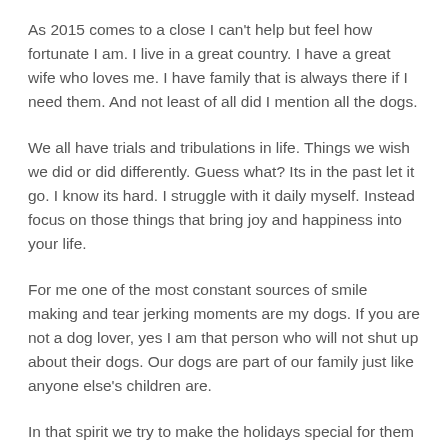As 2015 comes to a close I can't help but feel how fortunate I am. I live in a great country. I have a great wife who loves me. I have family that is always there if I need them. And not least of all did I mention all the dogs.
We all have trials and tribulations in life. Things we wish we did or did differently. Guess what? Its in the past let it go. I know its hard. I struggle with it daily myself. Instead focus on those things that bring joy and happiness into your life.
For me one of the most constant sources of smile making and tear jerking moments are my dogs. If you are not a dog lover, yes I am that person who will not shut up about their dogs. Our dogs are part of our family just like anyone else's children are.
In that spirit we try to make the holidays special for them as well. We bought them presents. We wrapped them. We had